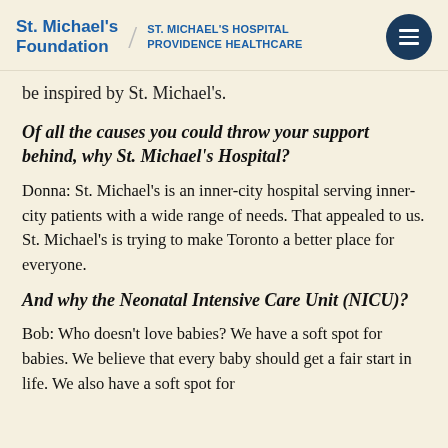St. Michael's Foundation / ST. MICHAEL'S HOSPITAL PROVIDENCE HEALTHCARE
be inspired by St. Michael's.
Of all the causes you could throw your support behind, why St. Michael's Hospital?
Donna: St. Michael's is an inner-city hospital serving inner-city patients with a wide range of needs. That appealed to us. St. Michael's is trying to make Toronto a better place for everyone.
And why the Neonatal Intensive Care Unit (NICU)?
Bob: Who doesn't love babies? We have a soft spot for babies. We believe that every baby should get a fair start in life. We also have a soft spot for